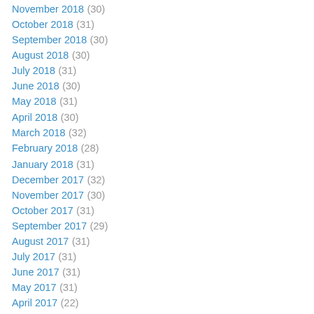November 2018 (30)
October 2018 (31)
September 2018 (30)
August 2018 (30)
July 2018 (31)
June 2018 (30)
May 2018 (31)
April 2018 (30)
March 2018 (32)
February 2018 (28)
January 2018 (31)
December 2017 (32)
November 2017 (30)
October 2017 (31)
September 2017 (29)
August 2017 (31)
July 2017 (31)
June 2017 (31)
May 2017 (31)
April 2017 (22)